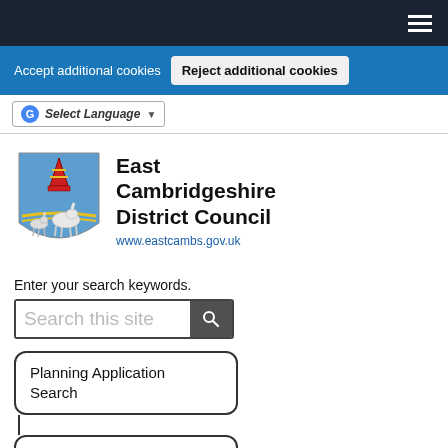Accept additional cookies
Reject additional cookies
Select Language
[Figure (logo): East Cambridgeshire District Council coat of arms shield logo with horses and bishop's mitre]
East Cambridgeshire District Council
www.eastcambs.gov.uk
Enter your search keywords.
Search this site
Planning Application Search
Meetings Search